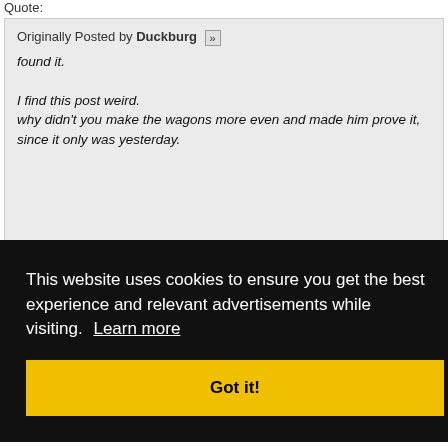Quote:
Originally Posted by Duckburg
found it.

I find this post weird.
why didn't you make the wagons more even and made him prove it, since it only was yesterday.

Got it!
This website uses cookies to ensure you get the best experience and relevant advertisements while visiting. Learn more
Got it!
Also do you think Gambit is a wolf, and the wolf seer peeked